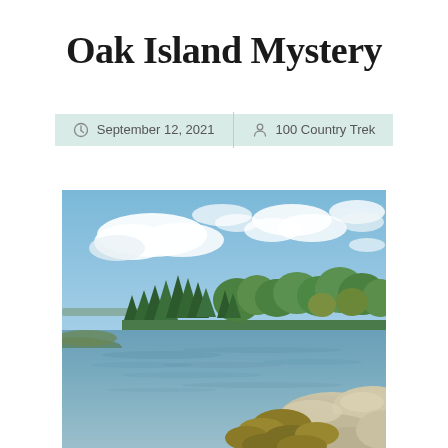Oak Island Mystery
September 12, 2021   100 Country Trek
[Figure (photo): Photograph of Oak Island: a calm water bay in the foreground with rocky shoreline and green shrubs at bottom right, a forested island with dense evergreen and deciduous trees in the middle ground, and a partly cloudy blue sky above.]